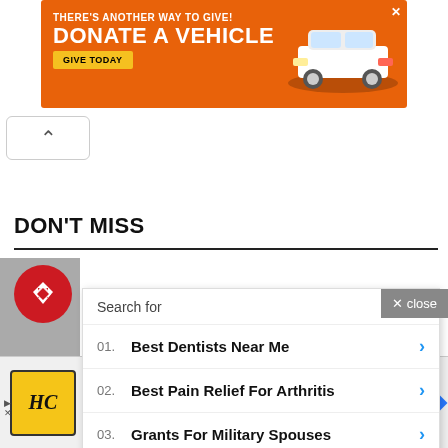[Figure (screenshot): Orange advertisement banner: THERE'S ANOTHER WAY TO GIVE! DONATE A VEHICLE GIVE TODAY with a white car image]
DON'T MISS
[Figure (screenshot): Search overlay widget showing: Search for, 01. Best Dentists Near Me, 02. Best Pain Relief For Arthritis, 03. Grants For Military Spouses, with a close button]
[Figure (screenshot): Bottom advertisement: HC logo, View store hours, get directions, or call your salon! with a blue navigation diamond icon]